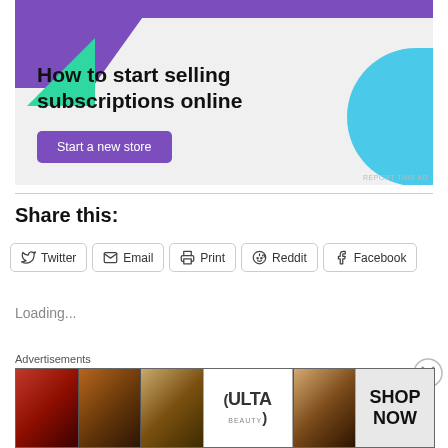[Figure (illustration): Advertisement banner: 'How to start selling subscriptions online' with purple, teal, and green decorative shapes and a 'Start a new store' button]
REPORT THIS AD
Share this:
Twitter
Email
Print
Reddit
Facebook
Loading...
Advertisements
[Figure (photo): Ulta Beauty advertisement strip showing makeup/cosmetic imagery with 'SHOP NOW' text]